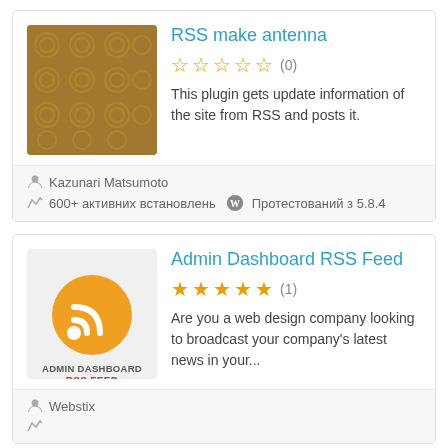RSS make antenna
☆☆☆☆☆ (0)
This plugin gets update information of the site from RSS and posts it.
Kazunari Matsumoto
600+ активних встановлень   Протестований з 5.8.4
Admin Dashboard RSS Feed
★★★★★ (1)
Are you a web design company looking to broadcast your company's latest news in your...
Webstix